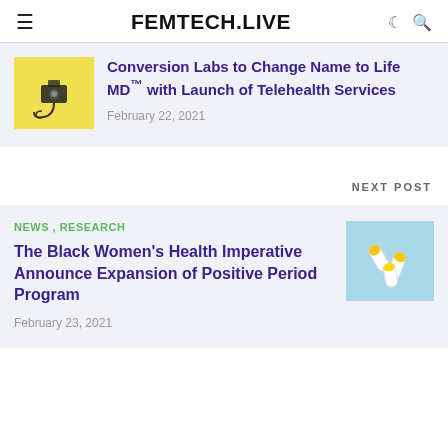FEMTECH.LIVE
Conversion Labs to Change Name to Life MD™ with Launch of Telehealth Services
February 22, 2021
NEXT POST
NEWS , RESEARCH
The Black Women's Health Imperative Announce Expansion of Positive Period Program
February 23, 2021